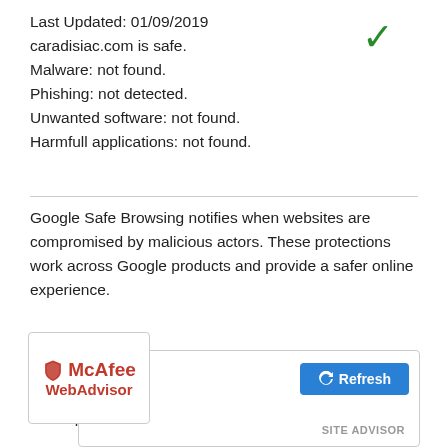Last Updated: 01/09/2019
caradisiac.com is safe.
Malware: not found.
Phishing: not detected.
Unwanted software: not found.
Harmfull applications: not found.
Google Safe Browsing notifies when websites are compromised by malicious actors. These protections work across Google products and provide a safer online experience.
[Figure (logo): McAfee WebAdvisor logo with shield icon, red text, and a Refresh button labeled SITE ADVISOR]
Last Updated: 02/22/2021